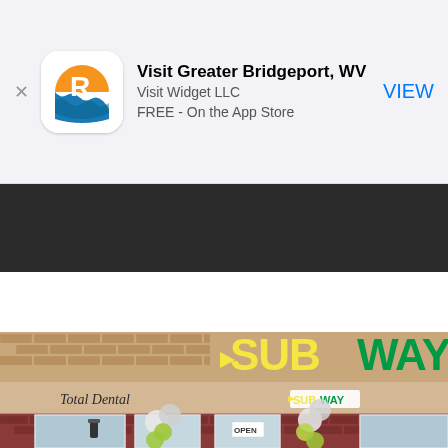[Figure (screenshot): App Store banner ad for 'Visit Greater Bridgeport, WV' app by Visit Widget LLC, showing app icon with orange sun/river logo, app name, developer, price (FREE - On the App Store), and VIEW button in blue]
[Figure (photo): Photo of a Subway restaurant storefront with green and yellow Subway sign, beige awning with 'Total Dental' and smaller Subway logo, brick exterior, glass doors marked OPEN, balloon columns with white and green balloons for grand opening]